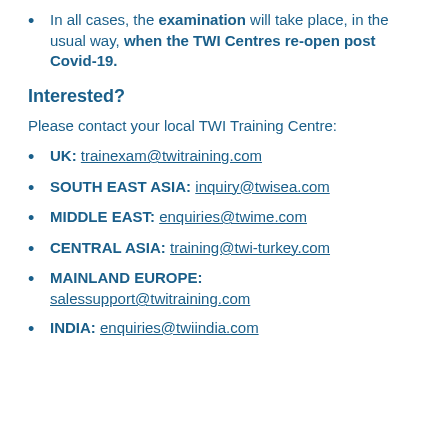In all cases, the examination will take place, in the usual way, when the TWI Centres re-open post Covid-19.
Interested?
Please contact your local TWI Training Centre:
UK: trainexam@twitraining.com
SOUTH EAST ASIA: inquiry@twisea.com
MIDDLE EAST: enquiries@twime.com
CENTRAL ASIA: training@twi-turkey.com
MAINLAND EUROPE: salessupport@twitraining.com
INDIA: enquiries@twiindia.com